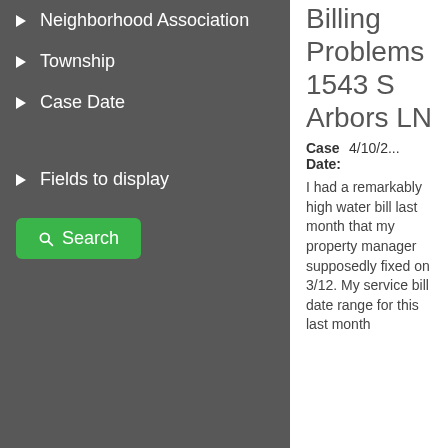Neighborhood Association
Township
Case Date
Fields to display
Search
Billing Problems 1543 S Arbors LN
Case Date: 4/10/2...
I had a remarkably high water bill last month that my property manager supposedly fixed on 3/12. My service bill date range for this last month